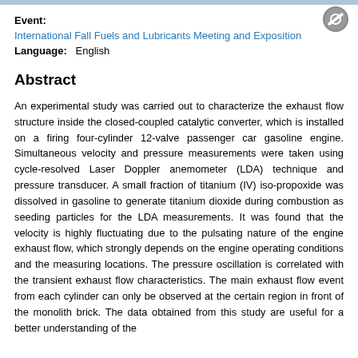Event:
International Fall Fuels and Lubricants Meeting and Exposition
Language: English
Abstract
An experimental study was carried out to characterize the exhaust flow structure inside the closed-coupled catalytic converter, which is installed on a firing four-cylinder 12-valve passenger car gasoline engine. Simultaneous velocity and pressure measurements were taken using cycle-resolved Laser Doppler anemometer (LDA) technique and pressure transducer. A small fraction of titanium (IV) iso-propoxide was dissolved in gasoline to generate titanium dioxide during combustion as seeding particles for the LDA measurements. It was found that the velocity is highly fluctuating due to the pulsating nature of the engine exhaust flow, which strongly depends on the engine operating conditions and the measuring locations. The pressure oscillation is correlated with the transient exhaust flow characteristics. The main exhaust flow event from each cylinder can only be observed at the certain region in front of the monolith brick. The data obtained from this study are useful for a better understanding of the